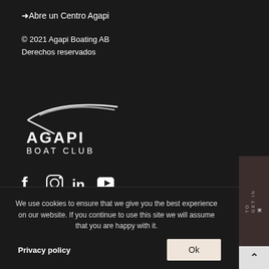→ Abre un Centro Agapi
© 2021 Agapi Boating AB
Derechos reservados
[Figure (logo): Agapi Boat Club logo — white bird/wing graphic above text AGAPI BOAT CLUB in white on dark background]
[Figure (infographic): Social media icons: Facebook, Instagram, LinkedIn, YouTube]
We use cookies to ensure that we give you the best experience on our website. If you continue to use this site we will assume that you are happy with it.
Privacy policy
Ok